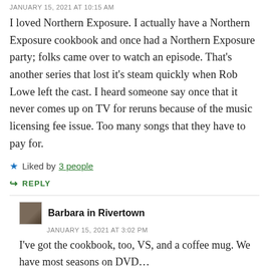JANUARY 15, 2021 AT 10:15 AM
I loved Northern Exposure. I actually have a Northern Exposure cookbook and once had a Northern Exposure party; folks came over to watch an episode. That's another series that lost it's steam quickly when Rob Lowe left the cast. I heard someone say once that it never comes up on TV for reruns because of the music licensing fee issue. Too many songs that they have to pay for.
Liked by 3 people
REPLY
Barbara in Rivertown
JANUARY 15, 2021 AT 3:02 PM
I've got the cookbook, too, VS, and a coffee mug. We have most seasons on DVD…